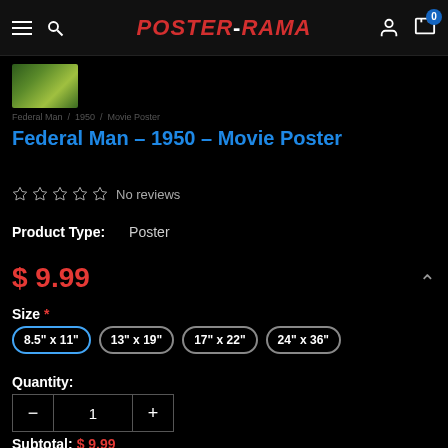Poster-Rama
[Figure (photo): Small thumbnail image of movie poster with green/nature tones]
Federal Man / 1950 / Movie Poster
Federal Man – 1950 – Movie Poster
☆☆☆☆☆  No reviews
Product Type:  Poster
$ 9.99
Size *
8.5" x 11"  13" x 19"  17" x 22"  24" x 36"
Quantity:
1
Subtotal: $ 9.99